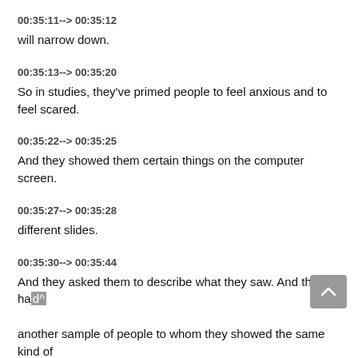00:35:11--> 00:35:12
will narrow down.
00:35:13--> 00:35:20
So in studies, they've primed people to feel anxious and to feel scared.
00:35:22--> 00:35:25
And they showed them certain things on the computer screen.
00:35:27--> 00:35:28
different slides.
00:35:30--> 00:35:44
And they asked them to describe what they saw. And they had another sample of people to whom they showed the same kind of